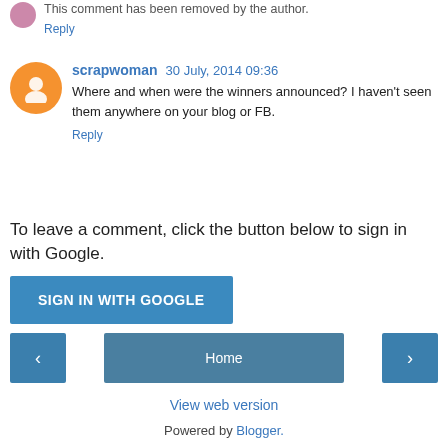This comment has been removed by the author.
Reply
scrapwoman  30 July, 2014 09:36
Where and when were the winners announced? I haven't seen them anywhere on your blog or FB.
Reply
To leave a comment, click the button below to sign in with Google.
SIGN IN WITH GOOGLE
[Figure (other): Navigation bar with left arrow, Home button, and right arrow]
View web version
Powered by Blogger.